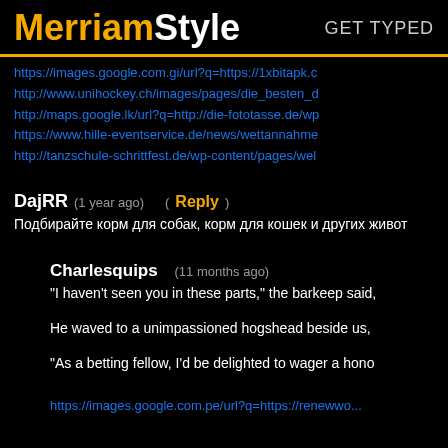MerriamStyle  GET TYPED
https://images.google.com.gi/url?q=https://1xbitapk.c...
http://www.unihockey.ch/images/pages/die_besten_d...
http://maps.google.lk/url?q=http://die-fototasse.de/wp...
https://www.hille-eventservice.de/news/wettannahme...
http://tanzschule-schrittfest.de/wp-content/pages/wel...
DajRR   (1 year ago)   (Reply)
Подбирайте корм для собак, корм для кошек и других живот...
Charlesquips   (11 months ago)
"I haven't seen you in these parts," the barkeep said,
He waved to a unimpassioned hogshead beside us,
"As a betting fellow, I'd be delighted to wager a hono...
https://images.google.com.pe/url?q=https://renewwo...